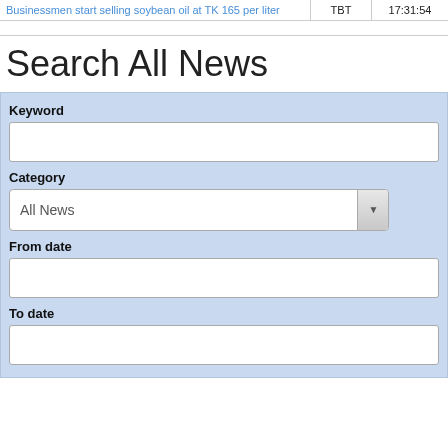| Article | Source | Time |
| --- | --- | --- |
| Businessmen start selling soybean oil at TK 165 per liter | TBT | 17:31:54 |
Search All News
Keyword
Category
All News
From date
To date